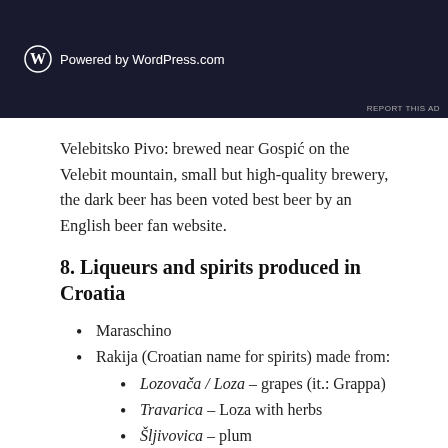[Figure (screenshot): Dark banner ad showing WordPress.com logo and 'Powered by WordPress.com' text on dark navy background]
Velebitsko Pivo: brewed near Gospić on the Velebit mountain, small but high-quality brewery, the dark beer has been voted best beer by an English beer fan website.
8. Liqueurs and spirits produced in Croatia
Maraschino
Rakija (Croatian name for spirits) made from:
Lozovača / Loza – grapes (it.: Grappa)
Travarica – Loza with herbs
Šljivovica – plum
Kruškovac – pears
Drenovac – cherries
Pelinkovac